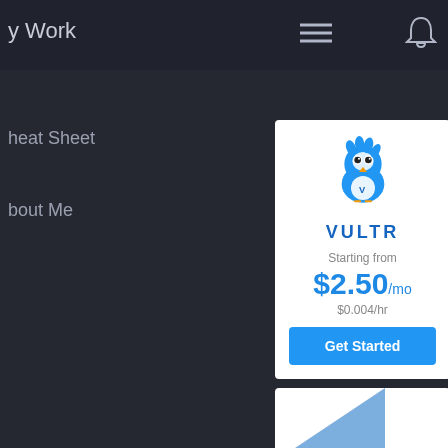y Work
heat Sheet
bout Me
[Figure (screenshot): Vultr advertisement card with bird mascot logo, pricing starting from $2.50/mo ($0.004/hr), and a Get Started button]
Starting from
$2.50/mo
$0.004/hr
Get Started